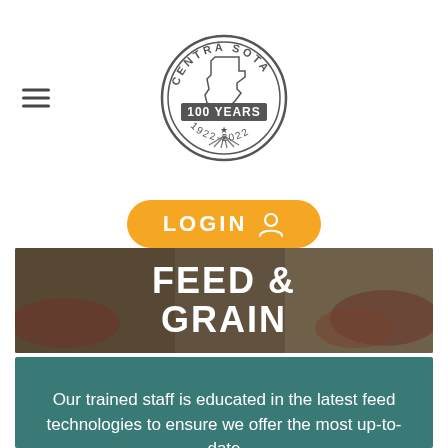[Figure (logo): Centra Soia 100 Years circular logo with Minnesota state outline and 1922-2022 text]
[Figure (other): Orange LOGIN button with user icon]
[Figure (photo): Hero image of a man in a barn with cattle, overlaid with text FEED & GRAIN]
Our trained staff is educated in the latest feed technologies to ensure we offer the most up-to-date